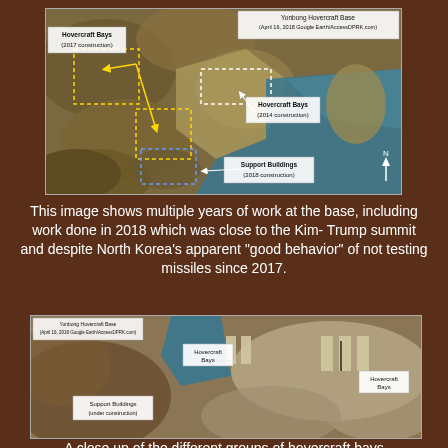[Figure (photo): Satellite image of Yonbong Hovercraft Base (April 16, 2018, Google Earth/AccessDPRK.com) showing annotated Hovercraft Bays (2017 construction), Hovercraft Bays (2014 construction), and Support Buildings (2018 construction) with dashed boxes and arrows.]
This image shows multiple years of work at the base, including work done in 2018 which was close to the Kim-Trump summit and despite North Korea's apparent "good behavior" of not testing missiles since 2017.
[Figure (photo): Close-up satellite image of Yonbong Hovercraft Base (April 16, 2018, Google Earth/AccessDPRK.com) showing Hovercraft Bays (two groups) and Support Buildings (under construction) with annotation labels and lines.]
A close up of the different groups of hovercraft bays